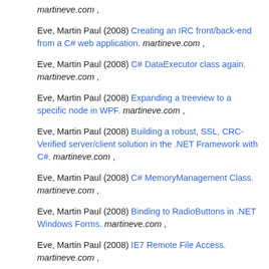martineve.com ,
Eve, Martin Paul (2008) Creating an IRC front/back-end from a C# web application. martineve.com ,
Eve, Martin Paul (2008) C# DataExecutor class again. martineve.com ,
Eve, Martin Paul (2008) Expanding a treeview to a specific node in WPF. martineve.com ,
Eve, Martin Paul (2008) Building a robust, SSL, CRC-Verified server/client solution in the .NET Framework with C#. martineve.com ,
Eve, Martin Paul (2008) C# MemoryManagement Class. martineve.com ,
Eve, Martin Paul (2008) Binding to RadioButtons in .NET Windows Forms. martineve.com ,
Eve, Martin Paul (2008) IE7 Remote File Access. martineve.com ,
Eve, Martin Paul (2008) Firefox 3 disallows cross-site XBL. martineve.com ,